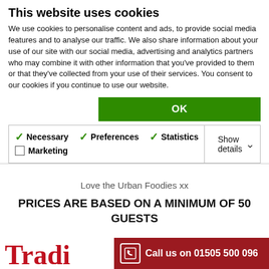This website uses cookies
We use cookies to personalise content and ads, to provide social media features and to analyse our traffic. We also share information about your use of our site with our social media, advertising and analytics partners who may combine it with other information that you've provided to them or that they've collected from your use of their services. You consent to our cookies if you continue to use our website.
| ✓ Necessary | ✓ Preferences | ✓ Statistics | Show details ∨ |
| ☐ Marketing |  |  |  |
Love the Urban Foodies xx
PRICES ARE BASED ON A MINIMUM OF 50 GUESTS
Call us on 01505 500 096